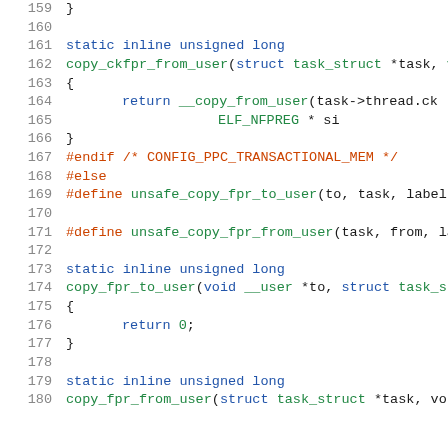[Figure (screenshot): Source code listing showing C code lines 159-180 with syntax highlighting. Line numbers in gray on left, keywords in blue, preprocessor directives in red/orange, identifiers in green.]